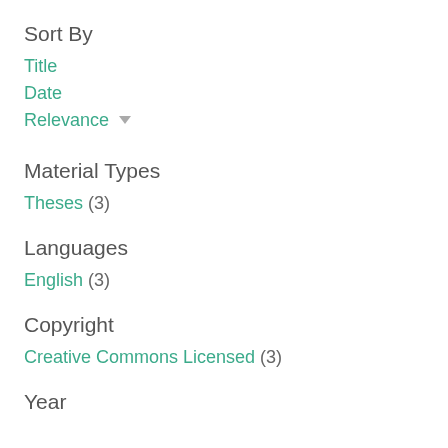Sort By
Title
Date
Relevance ▾
Material Types
Theses (3)
Languages
English (3)
Copyright
Creative Commons Licensed (3)
Year